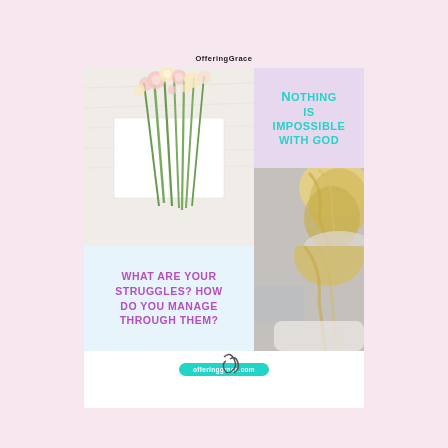OfferingGrace
[Figure (photo): Flat lay photo of pink and white flowers on a white cloth background with an open book]
Nothing is impossible with God
[Figure (photo): Back of a blonde woman's head looking out]
What are your struggles? How do you manage through them?
offeringgrace.com